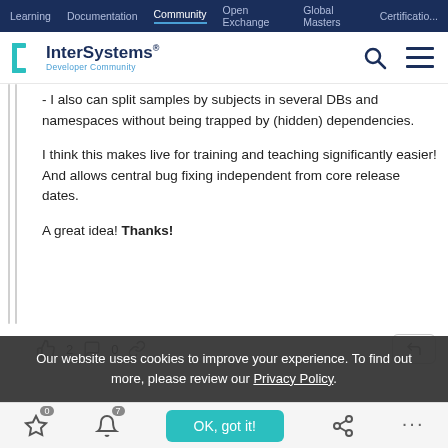Learning | Documentation | Community | Open Exchange | Global Masters | Certification
[Figure (logo): InterSystems Developer Community logo with teal bracket icon]
- I also can split samples by subjects in several DBs and namespaces without being trapped by (hidden) dependencies.

I think this makes live for training and teaching significantly easier!
And allows central bug fixing independent from core release dates.

A great idea! Thanks!
Our website uses cookies to improve your experience. To find out more, please review our Privacy Policy.
OK, got it!